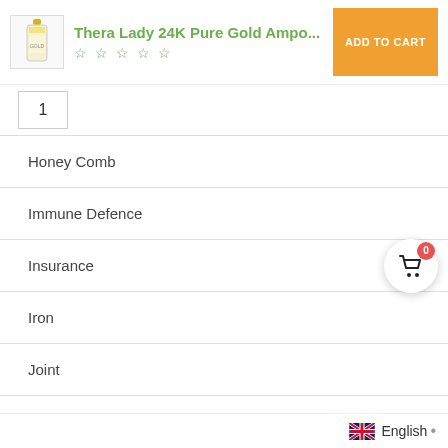Thera Lady 24K Pure Gold Ampo... | ADD TO CART | ☆☆☆☆☆
1
Honey Comb
Immune Defence
Insurance
Iron
Joint
Kangaroo Essence
Kid's Masks
English •